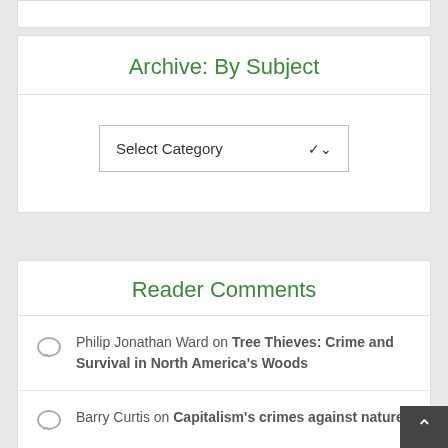Archive: By Subject
Select Category
Reader Comments
Philip Jonathan Ward on Tree Thieves: Crime and Survival in North America's Woods
Barry Curtis on Capitalism's crimes against nature
Rebecca Turner on The Inequality